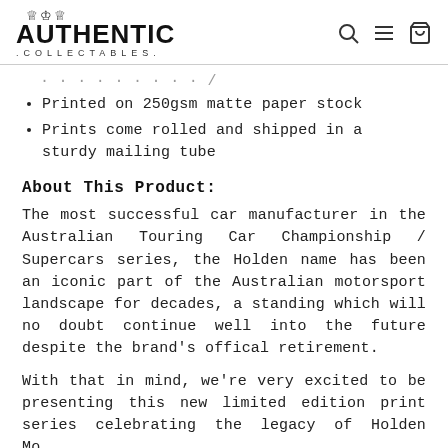AUTHENTIC COLLECTABLES
Printed on 250gsm matte paper stock
Prints come rolled and shipped in a sturdy mailing tube
About This Product:
The most successful car manufacturer in the Australian Touring Car Championship / Supercars series, the Holden name has been an iconic part of the Australian motorsport landscape for decades, a standing which will no doubt continue well into the future despite the brand's offical retirement.
With that in mind, we're very excited to be presenting this new limited edition print series celebrating the legacy of Holden Motorsport...